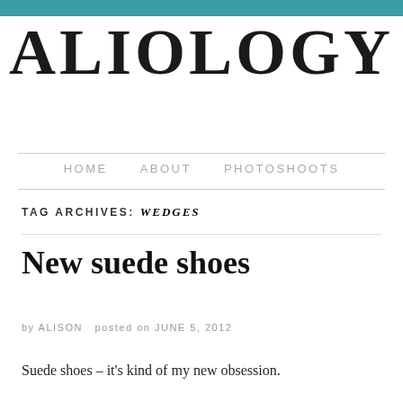ALIOLOGY
HOME   ABOUT   PHOTOSHOOTS
TAG ARCHIVES: WEDGES
New suede shoes
by ALISON posted on JUNE 5, 2012
Suede shoes – it's kind of my new obsession.